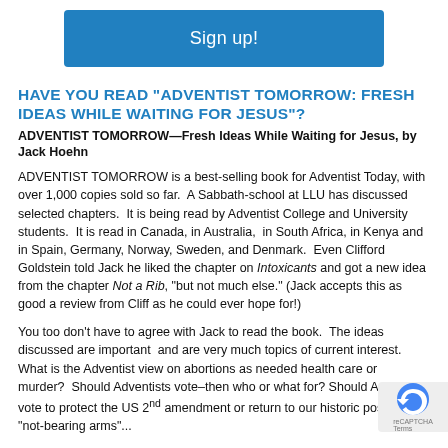[Figure (other): Blue 'Sign up!' button]
HAVE YOU READ "ADVENTIST TOMORROW: FRESH IDEAS WHILE WAITING FOR JESUS"?
ADVENTIST TOMORROW—Fresh Ideas While Waiting for Jesus, by Jack Hoehn
ADVENTIST TOMORROW is a best-selling book for Adventist Today, with over 1,000 copies sold so far. A Sabbath-school at LLU has discussed selected chapters. It is being read by Adventist College and University students. It is read in Canada, in Australia, in South Africa, in Kenya and in Spain, Germany, Norway, Sweden, and Denmark. Even Clifford Goldstein told Jack he liked the chapter on Intoxicants and got a new idea from the chapter Not a Rib, "but not much else." (Jack accepts this as good a review from Cliff as he could ever hope for!)
You too don't have to agree with Jack to read the book. The ideas discussed are important and are very much topics of current interest. What is the Adventist view on abortions as needed health care or murder? Should Adventists vote–then who or what for? Should Adventists vote to protect the US 2nd amendment or return to our historic position of "not-bearing arms"...